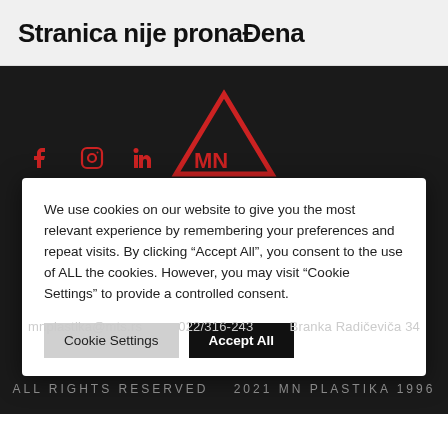Stranica nije pronađena
[Figure (logo): MN Plastika logo: red triangle outline with MN letters below, on dark background. Social media icons (Facebook, Instagram, LinkedIn) in red on the left.]
We use cookies on our website to give you the most relevant experience by remembering your preferences and repeat visits. By clicking "Accept All", you consent to the use of ALL the cookies. However, you may visit "Cookie Settings" to provide a controlled consent.
Cookie Settings   Accept All
mnplastika@mts.rs   022/316-243   Branka Radičevića 34
All Rights Reserved   2021 MN Plastika 1996